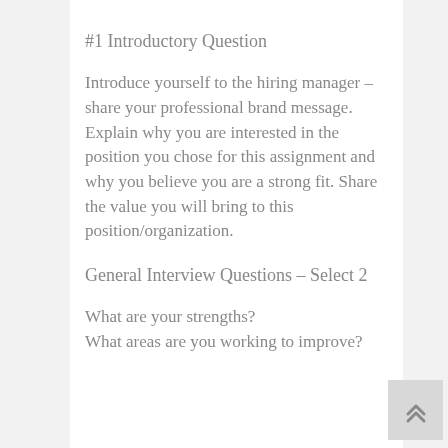#1 Introductory Question
Introduce yourself to the hiring manager – share your professional brand message. Explain why you are interested in the position you chose for this assignment and why you believe you are a strong fit. Share the value you will bring to this position/organization.
General Interview Questions – Select 2
What are your strengths?
What areas are you working to improve?